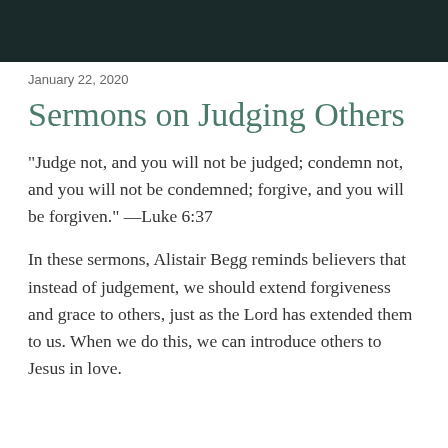[Figure (photo): Dark teal/charcoal image bar at top of page]
January 22, 2020
Sermons on Judging Others
"Judge not, and you will not be judged; condemn not, and you will not be condemned; forgive, and you will be forgiven." —Luke 6:37
In these sermons, Alistair Begg reminds believers that instead of judgement, we should extend forgiveness and grace to others, just as the Lord has extended them to us. When we do this, we can introduce others to Jesus in love.